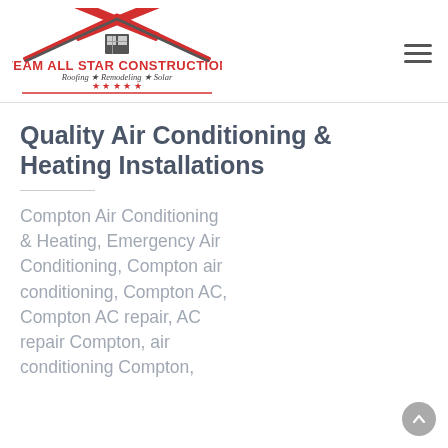[Figure (logo): Team All Star Construction logo with house roof shape in red and black, text 'TEAM ALL STAR CONSTRUCTION' in red, tagline 'Roofing ★ Remodeling ★ Solar' in italic, five red stars, and a red horizontal line beneath.]
Quality Air Conditioning & Heating Installations
Compton Air Conditioning & Heating, Emergency Air Conditioning, Compton air conditioning, Compton AC, Compton AC repair, AC repair Compton, air conditioning Compton,